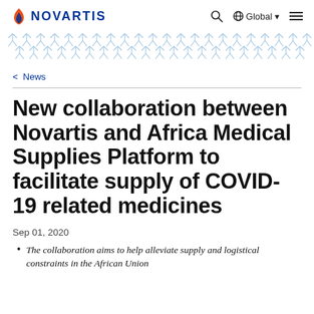NOVARTIS | Search | Global | Menu
[Figure (illustration): Decorative blue molecular/crystal pattern banner]
< News
New collaboration between Novartis and Africa Medical Supplies Platform to facilitate supply of COVID-19 related medicines
Sep 01, 2020
The collaboration aims to help alleviate supply and logistical constraints in the African Union